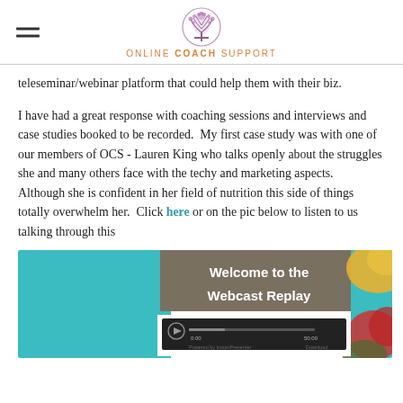ONLINE COACH SUPPORT
teleseminar/webinar platform that could help them with their biz.
I have had a great response with coaching sessions and interviews and case studies booked to be recorded. My first case study was with one of our members of OCS - Lauren King who talks openly about the struggles she and many others face with the techy and marketing aspects. Although she is confident in her field of nutrition this side of things totally overwhelm her. Click here or on the pic below to listen to us talking through this
[Figure (screenshot): Welcome to the Webcast Replay banner with a video player thumbnail, colorful fruits in the background]